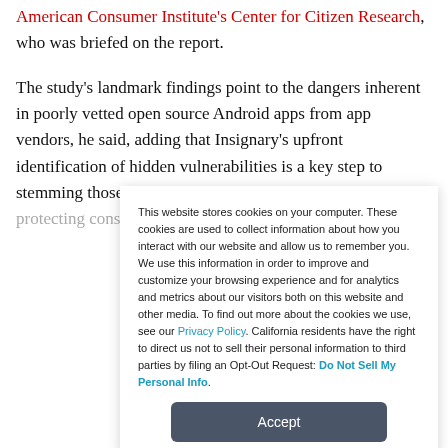American Consumer Institute's Center for Citizen Research, who was briefed on the report.
The study's landmark findings point to the dangers inherent in poorly vetted open source Android apps from app vendors, he said, adding that Insignary's upfront identification of hidden vulnerabilities is a key step to stemming those problems and protecting consumer information.
This website stores cookies on your computer. These cookies are used to collect information about how you interact with our website and allow us to remember you. We use this information in order to improve and customize your browsing experience and for analytics and metrics about our visitors both on this website and other media. To find out more about the cookies we use, see our Privacy Policy. California residents have the right to direct us not to sell their personal information to third parties by filing an Opt-Out Request: Do Not Sell My Personal Info.